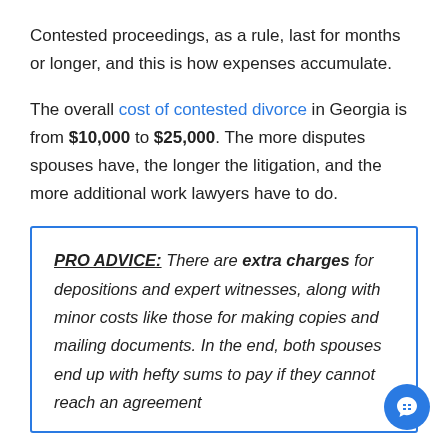Contested proceedings, as a rule, last for months or longer, and this is how expenses accumulate.
The overall cost of contested divorce in Georgia is from $10,000 to $25,000. The more disputes spouses have, the longer the litigation, and the more additional work lawyers have to do.
PRO ADVICE: There are extra charges for depositions and expert witnesses, along with minor costs like those for making copies and mailing documents. In the end, both spouses end up with hefty sums to pay if they cannot reach an agreement